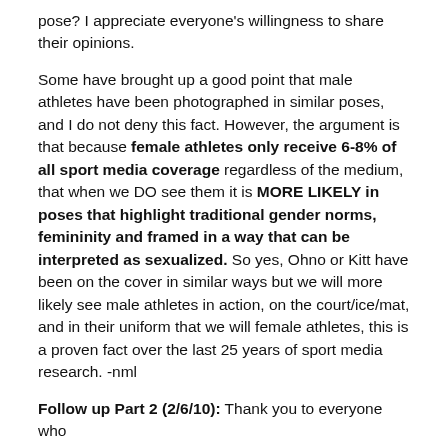pose? I appreciate everyone's willingness to share their opinions.
Some have brought up a good point that male athletes have been photographed in similar poses, and I do not deny this fact. However, the argument is that because female athletes only receive 6-8% of all sport media coverage regardless of the medium, that when we DO see them it is MORE LIKELY in poses that highlight traditional gender norms, femininity and framed in a way that can be interpreted as sexualized. So yes, Ohno or Kitt have been on the cover in similar ways but we will more likely see male athletes in action, on the court/ice/mat, and in their uniform that we will female athletes, this is a proven fact over the last 25 years of sport media research. -nml
Follow up Part 2 (2/6/10): Thank you to everyone who